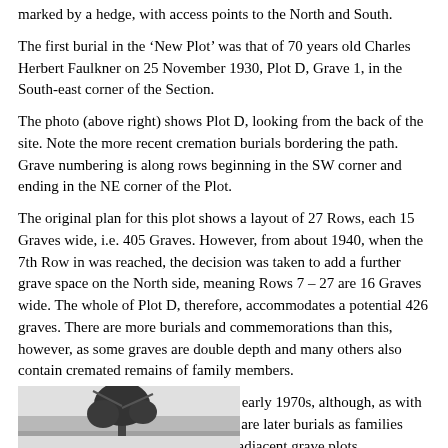marked by a hedge, with access points to the North and South.
The first burial in the ‘New Plot’ was that of 70 years old Charles Herbert Faulkner on 25 November 1930, Plot D, Grave 1, in the South-east corner of the Section.
The photo (above right) shows Plot D, looking from the back of the site. Note the more recent cremation burials bordering the path. Grave numbering is along rows beginning in the SW corner and ending in the NE corner of the Plot.
The original plan for this plot shows a layout of 27 Rows, each 15 Graves wide, i.e. 405 Graves. However, from about 1940, when the 7th Row in was reached, the decision was taken to add a further grave space on the North side, meaning Rows 7 – 27 are 16 Graves wide. The whole of Plot D, therefore, accommodates a potential 426 graves. There are more burials and commemorations than this, however, as some graves are double depth and many others also contain cremated remains of family members.
The burials in Plot D peter out in the early 1970s, although, as with all other Plots in the Cemetery, there are later burials as families exercised their option of pre-buying adjacent grave plots.
[Figure (photo): A black and white photograph showing a winter cemetery scene with bare trees and snow, partially visible at the bottom of the page.]